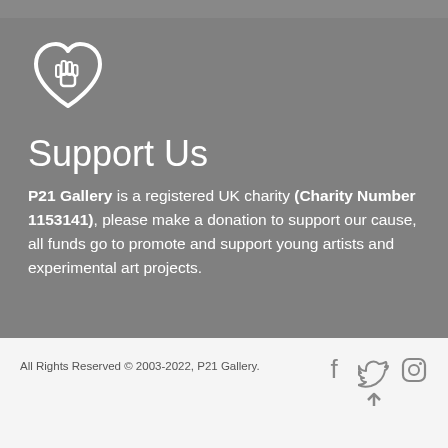[Figure (illustration): Heart-shaped icon with a raised hand/palm inside, white outline on grey background]
Support Us
P21 Gallery is a registered UK charity (Charity Number 1153141), please make a donation to support our cause, all funds go to promote and support young artists and experimental art projects.
All Rights Reserved © 2003-2022, P21 Gallery.